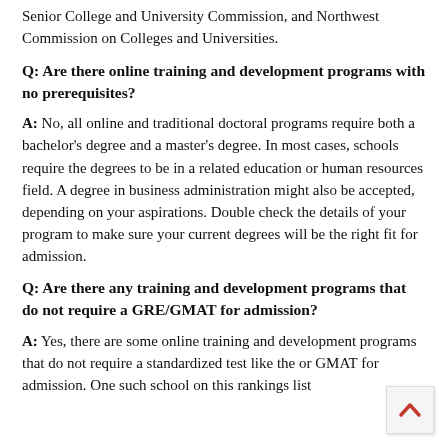Senior College and University Commission, and Northwest Commission on Colleges and Universities.
Q: Are there online training and development programs with no prerequisites?
A: No, all online and traditional doctoral programs require both a bachelor's degree and a master's degree. In most cases, schools require the degrees to be in a related education or human resources field. A degree in business administration might also be accepted, depending on your aspirations. Double check the details of your program to make sure your current degrees will be the right fit for admission.
Q: Are there any training and development programs that do not require a GRE/GMAT for admission?
A: Yes, there are some online training and development programs that do not require a standardized test like the or GMAT for admission. One such school on this rankings list